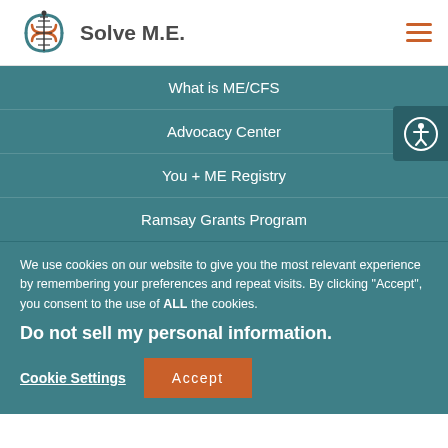[Figure (logo): Solve M.E. logo with DNA helix icon and text 'Solve M.E.']
What is ME/CFS
Advocacy Center
You + ME Registry
Ramsay Grants Program
We use cookies on our website to give you the most relevant experience by remembering your preferences and repeat visits. By clicking “Accept”, you consent to the use of ALL the cookies.
Do not sell my personal information.
Cookie Settings
Accept